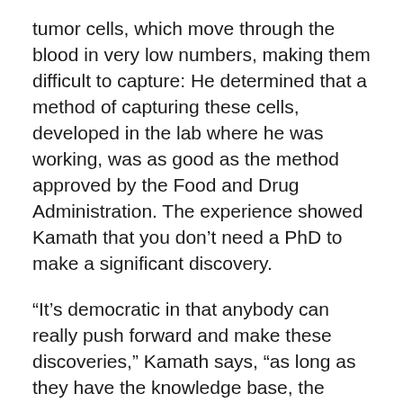tumor cells, which move through the blood in very low numbers, making them difficult to capture: He determined that a method of capturing these cells, developed in the lab where he was working, was as good as the method approved by the Food and Drug Administration. The experience showed Kamath that you don't need a PhD to make a significant discovery.
“It’s democratic in that anybody can really push forward and make these discoveries,” Kamath says, “as long as they have the knowledge base, the intuition, and the drive.”
Kamath first experienced MIT the summer before his senior year of high school, at Thomas Jefferson High School for Science and Technology in Alexandria,